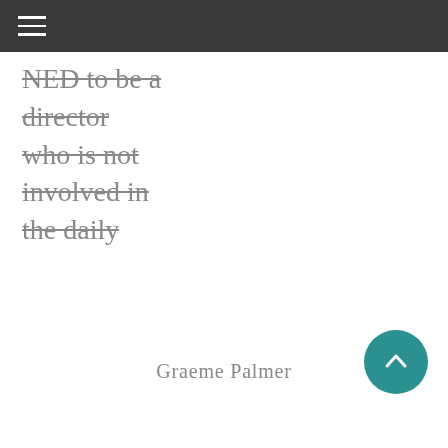NED to be a director who is not involved in the daily
Graeme Palmer